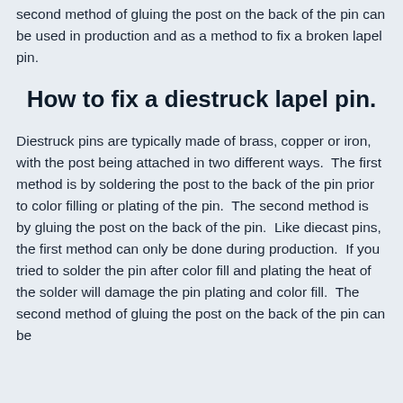second method of gluing the post on the back of the pin can be used in production and as a method to fix a broken lapel pin.
How to fix a diestruck lapel pin.
Diestruck pins are typically made of brass, copper or iron, with the post being attached in two different ways.  The first method is by soldering the post to the back of the pin prior to color filling or plating of the pin.  The second method is by gluing the post on the back of the pin.  Like diecast pins, the first method can only be done during production.  If you tried to solder the pin after color fill and plating the heat of the solder will damage the pin plating and color fill.  The second method of gluing the post on the back of the pin can be